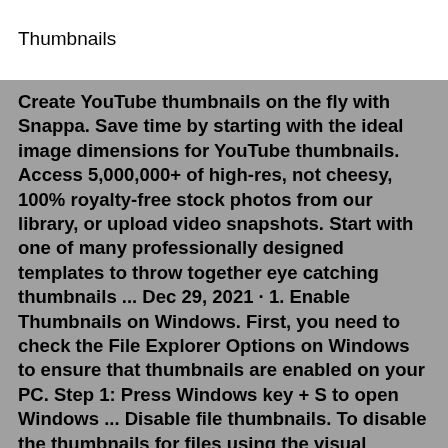Thumbnails
Create YouTube thumbnails on the fly with Snappa. Save time by starting with the ideal image dimensions for YouTube thumbnails. Access 5,000,000+ of high-res, not cheesy, 100% royalty-free stock photos from our library, or upload video snapshots. Start with one of many professionally designed templates to throw together eye catching thumbnails ... Dec 29, 2021 · 1. Enable Thumbnails on Windows. First, you need to check the File Explorer Options on Windows to ensure that thumbnails are enabled on your PC. Step 1: Press Windows key + S to open Windows ... Disable file thumbnails. To disable the thumbnails for files using the visual effects settings, use these steps: Open Settings. Click on System. Click on About. Under the "Related settings ...Thumbnails also show up when you get to the end of a video, depending on your settings—typically 12 thumbnails show on the video